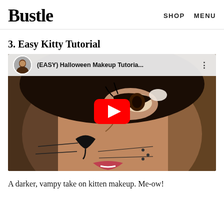Bustle  SHOP  MENU
3. Easy Kitty Tutorial
[Figure (screenshot): YouTube video embed showing a woman with Halloween cat makeup — dark eye liner, drawn-on cat nose and whiskers, with a YouTube play button overlay. The video title bar reads '(EASY) Halloween Makeup Tutoria...' with a channel avatar thumbnail.]
A darker, vampy take on kitten makeup. Me-ow!